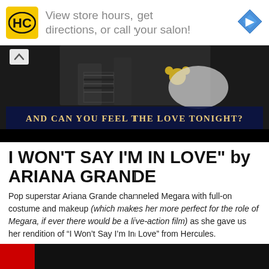[Figure (advertisement): Hairclub (HC) salon ad banner with yellow logo, text 'View store hours, get directions, or call your salon!' and blue navigation arrow icon on right]
[Figure (screenshot): Video still showing people on stage with banner text 'AND CAN YOU FEEL THE LOVE TONIGHT?' in gold text on dark blue background]
I WON'T SAY I'M IN LOVE" by ARIANA GRANDE
Pop superstar Ariana Grande channeled Megara with full-on costume and makeup (which makes her more perfect for the role of Megara, if ever there would be a live-action film) as she gave us her rendition of “I Won’t Say I’m In Love” from Hercules.
[Figure (screenshot): Partial thumbnail at bottom of page showing dark background with red element]